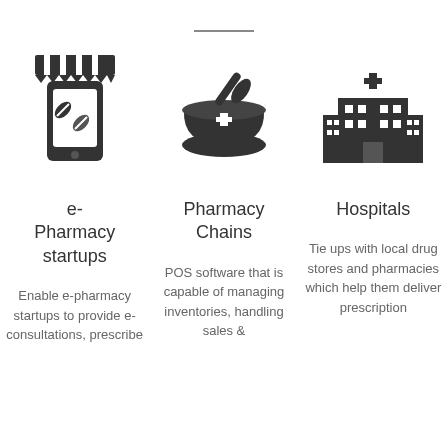[Figure (illustration): Horizontal decorative line divider at top center of page]
[Figure (illustration): Icon of a mobile phone/tablet with a pharmacy/medicine app showing pill icons, under a store awning]
[Figure (illustration): Icon of a mortar and pestle with a medical cross symbol (pharmacy icon)]
[Figure (illustration): Icon of a hospital building with a medical cross on top]
e-Pharmacy startups
Pharmacy Chains
Hospitals
Enable e-pharmacy startups to provide e-consultations, prescribe
POS software that is capable of managing inventories, handling sales &
Tie ups with local drug stores and pharmacies which help them deliver prescription